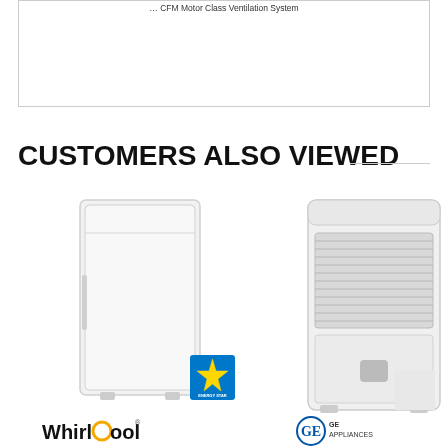... CFM Motor Class Ventilation System
CUSTOMERS ALSO VIEWED
[Figure (photo): White upright freezer appliance with Energy Star badge]
[Figure (photo): White dehumidifier appliance with GE Appliances logo]
[Figure (logo): Whirlpool brand logo]
[Figure (logo): GE Appliances brand logo]